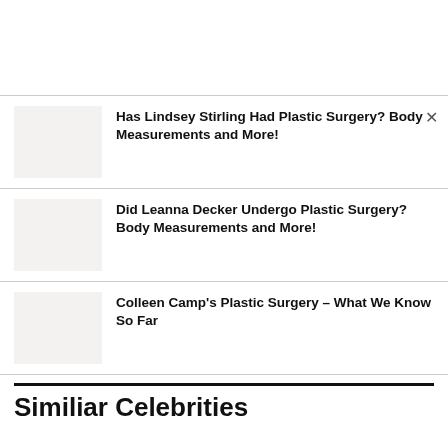Has Lindsey Stirling Had Plastic Surgery? Body Measurements and More!
Did Leanna Decker Undergo Plastic Surgery? Body Measurements and More!
Colleen Camp's Plastic Surgery – What We Know So Far
Similiar Celebrities